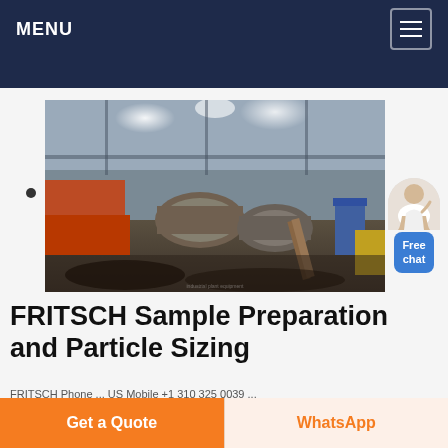MENU
[Figure (photo): Industrial factory floor showing large machinery, mills, and industrial equipment in a large warehouse/plant facility with overhead lighting]
FRITSCH Sample Preparation and Particle Sizing
FRITSCH Phone ... US Mobile +1 310 325 0039 ...
Get a Quote
WhatsApp